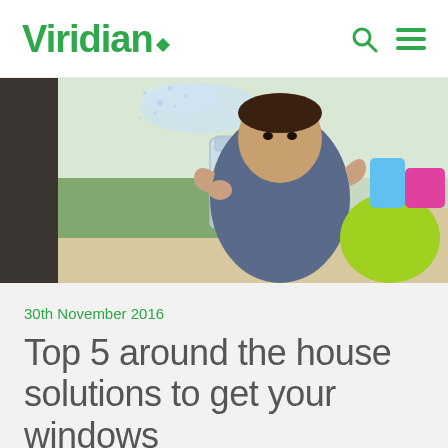Viridian
[Figure (photo): A young boy outdoors holding and spraying water from a clear spray bottle, wearing a dark blue t-shirt, with a bright yellow-green object beside him and a pool/outdoor setting in the background.]
30th November 2016
Top 5 around the house solutions to get your windows